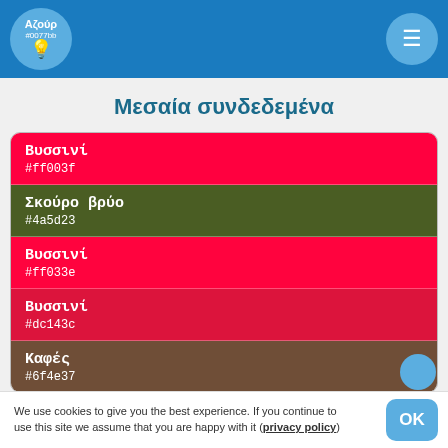Αζούρ #0077bb [icon: lightbulb] [hamburger menu]
Μεσαία συνδεδεμένα
Βυσσινί
#ff003f
Σκούρο βρύο
#4a5d23
Βυσσινί
#ff033e
Βυσσινί
#dc143c
Καφές
#6f4e37
We use cookies to give you the best experience. If you continue to use this site we assume that you are happy with it (privacy policy)  OK